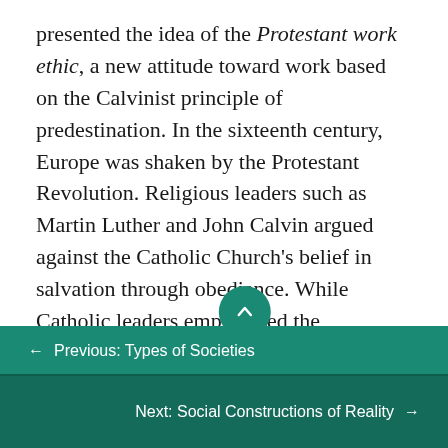presented the idea of the Protestant work ethic, a new attitude toward work based on the Calvinist principle of predestination. In the sixteenth century, Europe was shaken by the Protestant Revolution. Religious leaders such as Martin Luther and John Calvin argued against the Catholic Church's belief in salvation through obedience. While Catholic leaders emphasized the importance of religious dogma and performing good deeds as a gateway to Heaven, Protestants believed that inner grace, or faith in God, was enough to achieve salvation.
← Previous: Types of Societies
Next: Social Constructions of Reality →